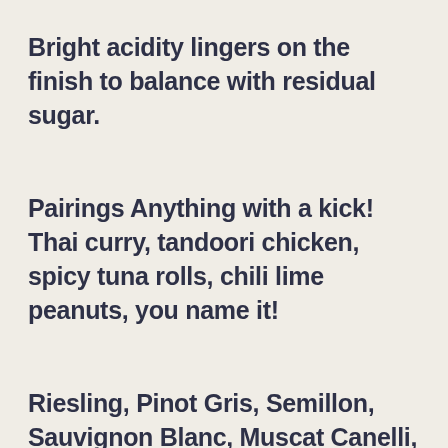Bright acidity lingers on the finish to balance with residual sugar.
Pairings Anything with a kick! Thai curry, tandoori chicken, spicy tuna rolls, chili lime peanuts, you name it!
Riesling, Pinot Gris, Semillon, Sauvignon Blanc, Muscat Canelli, Chardonnay, Gewürztraminer
Explore